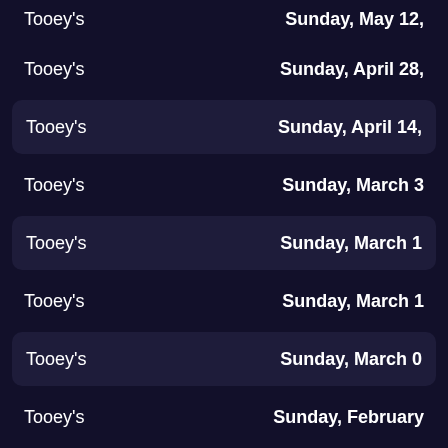Tooey's | Sunday, May 12,
Tooey's | Sunday, April 28,
Tooey's | Sunday, April 14,
Tooey's | Sunday, March 3
Tooey's | Sunday, March 1
Tooey's | Sunday, March 1
Tooey's | Sunday, March 0
Tooey's | Sunday, February
Tooey's | Sunday, February
Tooey's | Sunday, January